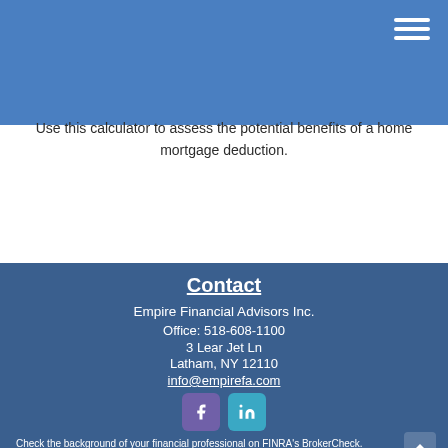Use this calculator to assess the potential benefits of a home mortgage deduction.
Contact
Empire Financial Advisors Inc.
Office: 518-608-1100
3 Lear Jet Ln
Latham, NY 12110
info@empirefa.com
[Figure (other): Facebook and LinkedIn social media icon buttons]
Check the background of your financial professional on FINRA's BrokerCheck.
The content is developed from sources believed to be providing accurate information. The information in this material is not intended as tax or legal advice. Please consult